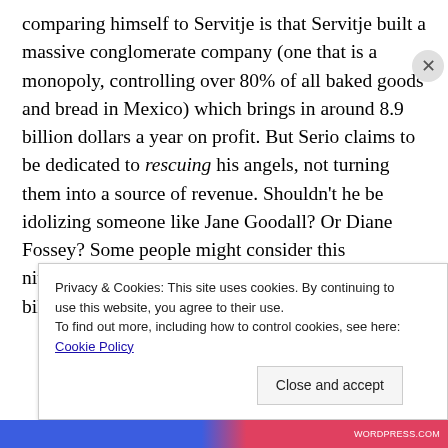What is most concerning about the fact that Serio is comparing himself to Servitje is that Servitje built a massive conglomerate company (one that is a monopoly, controlling over 80% of all baked goods and bread in Mexico) which brings in around 8.9 billion dollars a year on profit. But Serio claims to be dedicated to rescuing his angels, not turning them into a source of revenue. Shouldn't he be idolizing someone like Jane Goodall? Or Diane Fossey? Some people might consider this nitpicking, but when Serio compares himself to a billionaire business man, including his own
Privacy & Cookies: This site uses cookies. By continuing to use this website, you agree to their use.
To find out more, including how to control cookies, see here: Cookie Policy
Close and accept
WORDPRESS.COM